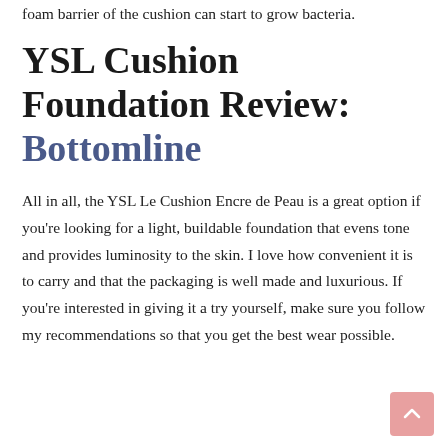foam barrier of the cushion can start to grow bacteria.
YSL Cushion Foundation Review: Bottomline
All in all, the YSL Le Cushion Encre de Peau is a great option if you're looking for a light, buildable foundation that evens tone and provides luminosity to the skin. I love how convenient it is to carry and that the packaging is well made and luxurious. If you're interested in giving it a try yourself, make sure you follow my recommendations so that you get the best wear possible.